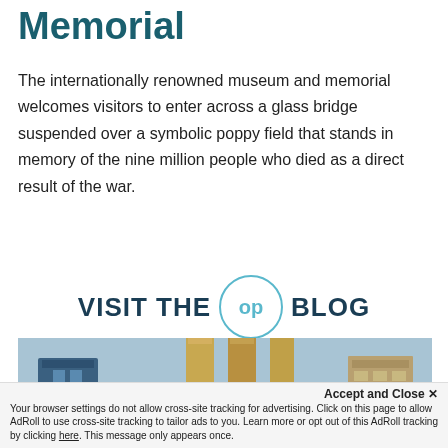Memorial
The internationally renowned museum and memorial welcomes visitors to enter across a glass bridge suspended over a symbolic poppy field that stands in memory of the nine million people who died as a direct result of the war.
[Figure (logo): VISIT THE op BLOG banner with circular logo containing 'op' text in light blue]
[Figure (photo): City skyline photograph showing tall buildings against a blue sky with large golden columns in the center]
Accept and Close ✕
Your browser settings do not allow cross-site tracking for advertising. Click on this page to allow AdRoll to use cross-site tracking to tailor ads to you. Learn more or opt out of this AdRoll tracking by clicking here. This message only appears once.